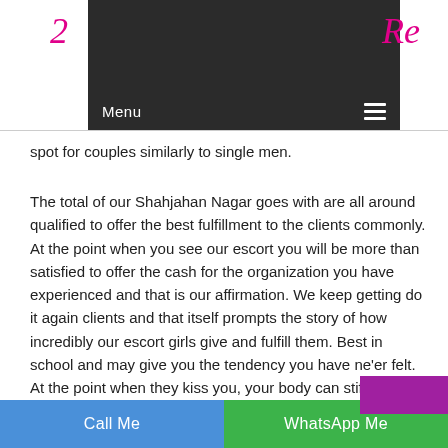[Figure (screenshot): Website header with dark navigation bar showing 'Menu' text and hamburger icon, with pink cursive logo partially visible on left and right sides]
spot for couples similarly to single men.
The total of our Shahjahan Nagar goes with are all around qualified to offer the best fulfillment to the clients commonly. At the point when you see our escort you will be more than satisfied to offer the cash for the organization you have experienced and that is our affirmation. We keep getting do it again clients and that itself prompts the story of how incredibly our escort girls give and fulfill them. Best in school and may give you the tendency you have ne'er felt. At the point when they kiss you, your body can stifle inside the substance of their lips and you may ignore everything else isolated from them
Call Me | WhatsApp Me